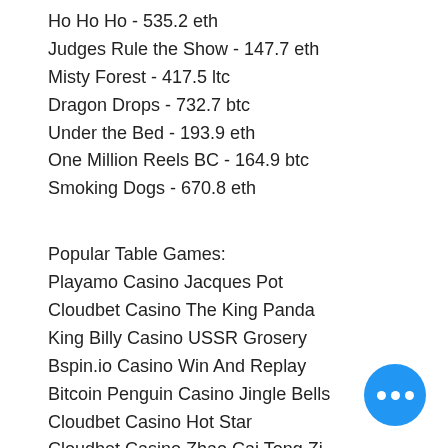Ho Ho Ho - 535.2 eth
Judges Rule the Show - 147.7 eth
Misty Forest - 417.5 ltc
Dragon Drops - 732.7 btc
Under the Bed - 193.9 eth
One Million Reels BC - 164.9 btc
Smoking Dogs - 670.8 eth
Popular Table Games:
Playamo Casino Jacques Pot
Cloudbet Casino The King Panda
King Billy Casino USSR Grosery
Bspin.io Casino Win And Replay
Bitcoin Penguin Casino Jingle Bells
Cloudbet Casino Hot Star
Cloudbet Casino Zhao Cai Tong Zi
Playamo Casino Horror Castle
22Bet Casino Hugo
22Bet Casino Aloha Cluster Pays
mBit Casino Titan Thunder
Oshi Casino Holly Cannons